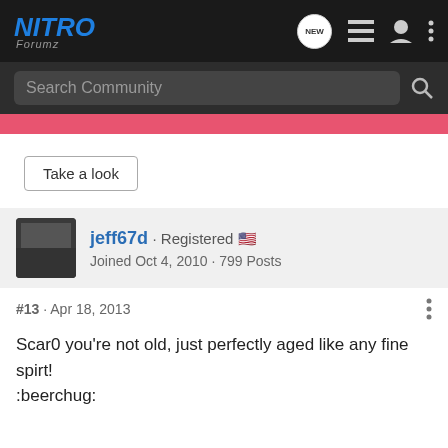NITRO Forumz — NEW [icons]
Search Community
Take a look
jeff67d · Registered 🇺🇸
Joined Oct 4, 2010 · 799 Posts
#13 · Apr 18, 2013
Scar0 you're not old, just perfectly aged like any fine spirt! :beerchug: